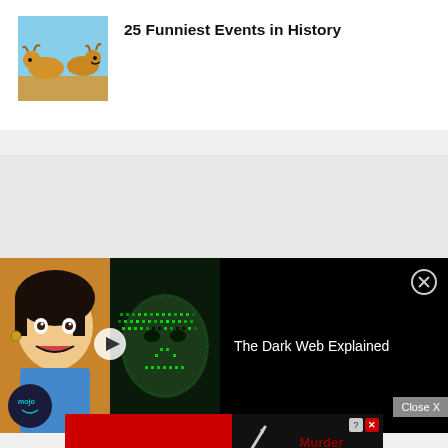[Figure (photo): Thumbnail image of animals (appears to be goats or similar animals) in a humorous scene against a sky background]
25 Funniest Events in History
[Figure (other): Gray advertisement placeholder block]
[Figure (screenshot): Video player overlay showing a person with surprised expression on the left (WatchMojo mojo logo), and a glowing green digital face on black background on the right. Title reads 'The Dark Web Explained' with a close (X) button.]
Close X
[Figure (screenshot): BitLife mobile game advertisement showing the BitLife logo on a red background on the left, and a dark section on the right with a knife icon, 'Murder' text in dark red, question mark and X icons, and a 'Do it!' button in light blue.]